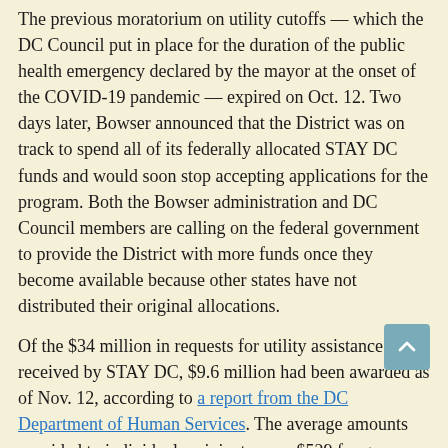The previous moratorium on utility cutoffs — which the DC Council put in place for the duration of the public health emergency declared by the mayor at the onset of the COVID-19 pandemic — expired on Oct. 12. Two days later, Bowser announced that the District was on track to spend all of its federally allocated STAY DC funds and would soon stop accepting applications for the program. Both the Bowser administration and DC Council members are calling on the federal government to provide the District with more funds once they become available because other states have not distributed their original allocations.
Of the $34 million in requests for utility assistance received by STAY DC, $9.6 million had been awarded as of Nov. 12, according to a report from the DC Department of Human Services. The average amounts provided to individual recipients were $529 for gas, $861 for electricity and $1,054 for water.
Whether the mayor approves the emergency legislation or